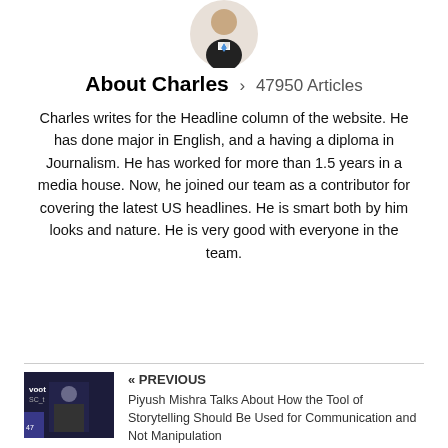[Figure (illustration): Avatar/profile illustration of a person in a suit with a blue tie, circular crop]
About Charles > 47950 Articles
Charles writes for the Headline column of the website. He has done major in English, and a having a diploma in Journalism. He has worked for more than 1.5 years in a media house. Now, he joined our team as a contributor for covering the latest US headlines. He is smart both by him looks and nature. He is very good with everyone in the team.
[Figure (photo): Thumbnail photo of Piyush Mishra on a TV show set with Voot Select branding]
« PREVIOUS
Piyush Mishra Talks About How the Tool of Storytelling Should Be Used for Communication and Not Manipulation
[Figure (photo): Thumbnail photo of a hockey player on ice, Edmonton Oilers game]
NEXT »
Oil Check: COVID Cancellations, Injury Updates, Thru 20 Games